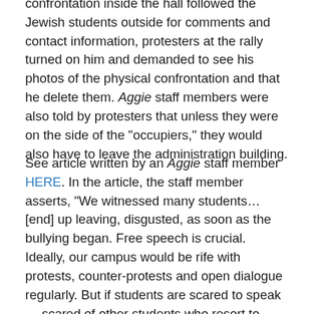When an Aggie photographer who had photographed the confrontation inside the hall followed the Jewish students outside for comments and contact information, protesters at the rally turned on him and demanded to see his photos of the physical confrontation and that he delete them. Aggie staff members were also told by protesters that unless they were on the side of the "occupiers," they would also have to leave the administration building.
See article written by an Aggie staff member HERE. In the article, the staff member asserts, "We witnessed many students…[end] up leaving, disgusted, as soon as the bullying began. Free speech is crucial. Ideally, our campus would be rife with protests, counter-protests and open dialogue regularly. But if students are scared to speak — scared of other students who resort to intimidation tactics — we have a serious problem."